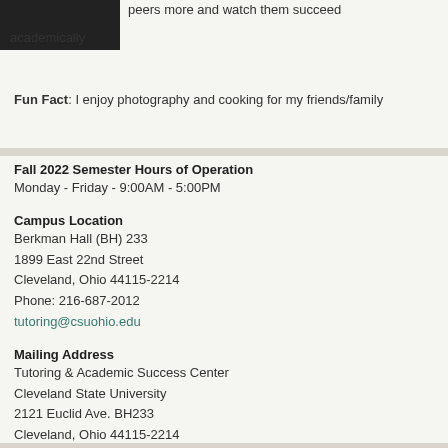[Figure (photo): Black and white photo of a person, partial view at top left]
peers more and watch them succeed academically
Fun Fact: I enjoy photography and cooking for my friends/family
Fall 2022 Semester Hours of Operation
Monday - Friday - 9:00AM - 5:00PM
Campus Location
Berkman Hall (BH) 233
1899 East 22nd Street
Cleveland, Ohio 44115-2214
Phone: 216-687-2012
tutoring@csuohio.edu
Mailing Address
Tutoring & Academic Success Center
Cleveland State University
2121 Euclid Ave. BH233
Cleveland, Ohio 44115-2214